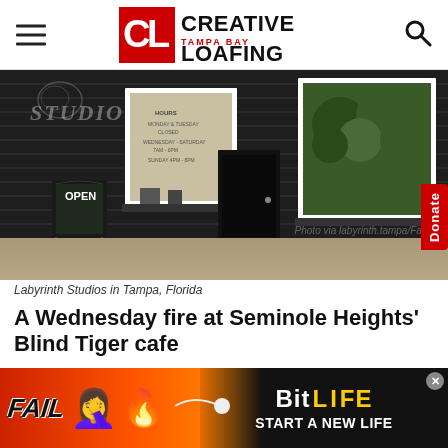Creative Loafing Tampa Bay
[Figure (photo): Exterior of Labyrinth Studios in Tampa, Florida — dark painted wood-siding building with white-framed windows, an OPEN A-frame chalkboard sign on the sidewalk, and lush green plants visible through the right window.]
Photo via labyrinth.tampa/Faceb...
Labyrinth Studios in Tampa, Florida
A Wednesday fire at Seminole Heights' Blind Tiger cafe
...
[Figure (screenshot): BitLife advertisement banner with FAIL text and fire emoji on orange/red background, BitLife logo and START A NEW LIFE text on dark right side.]